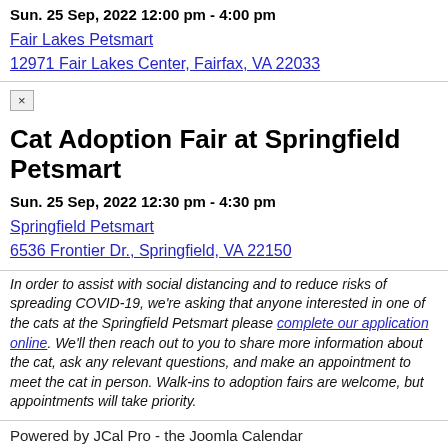Sun. 25 Sep, 2022 12:00 pm - 4:00 pm
Fair Lakes Petsmart
12971 Fair Lakes Center, Fairfax, VA 22033
Cat Adoption Fair at Springfield Petsmart
Sun. 25 Sep, 2022 12:30 pm - 4:30 pm
Springfield Petsmart
6536 Frontier Dr., Springfield, VA 22150
In order to assist with social distancing and to reduce risks of spreading COVID-19, we're asking that anyone interested in one of the cats at the Springfield Petsmart please complete our application online. We'll then reach out to you to share more information about the cat, ask any relevant questions, and make an appointment to meet the cat in person. Walk-ins to adoption fairs are welcome, but appointments will take priority.
Powered by JCal Pro - the Joomla Calendar